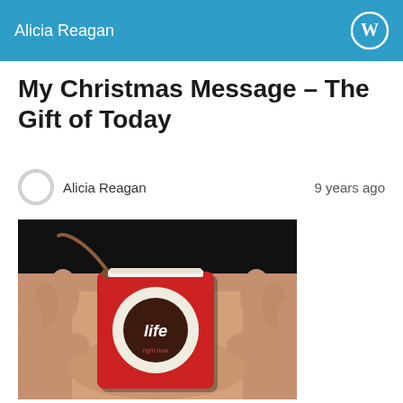Alicia Reagan
My Christmas Message – The Gift of Today
Alicia Reagan   9 years ago
[Figure (photo): Hands holding a small red square card/book with a white circle and the word 'life' printed inside the circle in white text on a dark background. A brown rope or cord is attached to the top left corner of the item.]